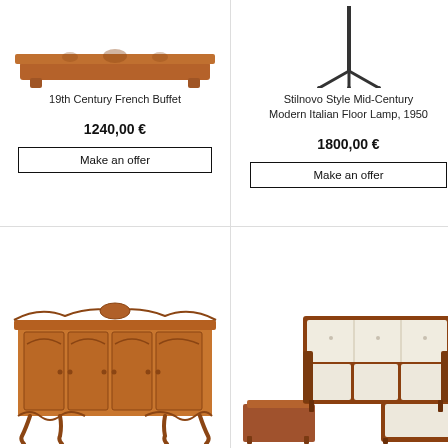[Figure (photo): 19th Century French Buffet - ornate wooden sideboard with carved decorative apron, partial top view]
19th Century French Buffet
1240,00 €
Make an offer
[Figure (photo): Stilnovo Style Mid-Century Modern Italian Floor Lamp, 1950 - tall tripod floor lamp]
Stilnovo Style Mid-Century Modern Italian Floor Lamp, 1950
1800,00 €
Make an offer
[Figure (photo): Ornate wooden French country style sideboard/buffet with carved panels and cabriole legs]
[Figure (photo): Mid-century modern sectional sofa set with cream cushions and wooden frame, with matching ottoman and coffee table]